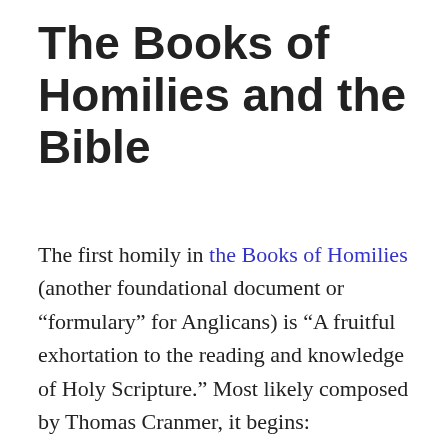The Books of Homilies and the Bible
The first homily in the Books of Homilies (another foundational document or “formulary” for Anglicans) is “A fruitful exhortation to the reading and knowledge of Holy Scripture.” Most likely composed by Thomas Cranmer, it begins: